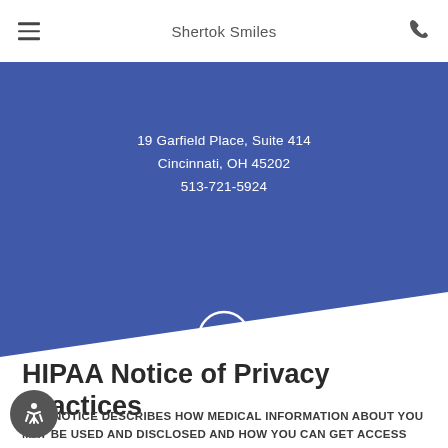Shertok Smiles
19 Garfield Place, Suite 414
Cincinnati, OH 45202
513-721-5924
[Figure (illustration): Facebook logo circle icon in white outline]
HIPAA Notice of Privacy Practices
THIS NOTICE DESCRIBES HOW MEDICAL INFORMATION ABOUT YOU MAY BE USED AND DISCLOSED AND HOW YOU CAN GET ACCESS TO THIS INFORMATION. PLEASE REVIEW IT CAREFULLY.